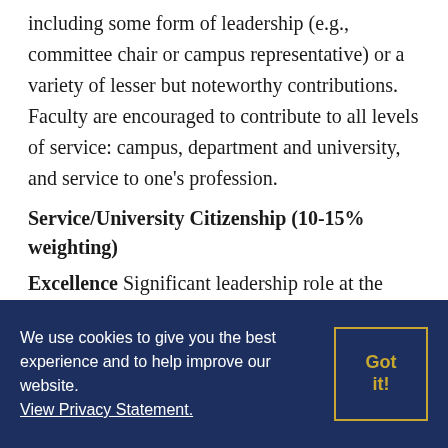including some form of leadership (e.g., committee chair or campus representative) or a variety of lesser but noteworthy contributions. Faculty are encouraged to contribute to all levels of service: campus, department and university, and service to one's profession.
Service/University Citizenship (10-15% weighting)
Excellence Significant leadership role at the Campus, College and/or University. Professional level...
We use cookies to give you the best experience and to help improve our website. View Privacy Statement.